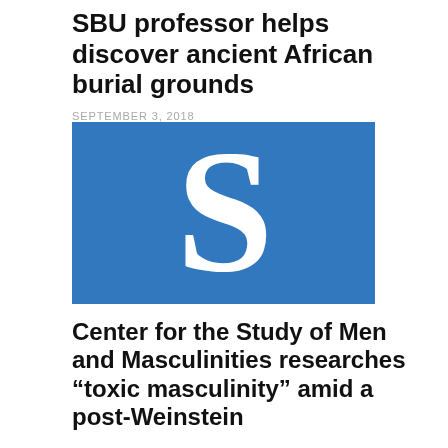SBU professor helps discover ancient African burial grounds
SEPTEMBER 3, 2018
[Figure (logo): Blue background with large white letter S logo]
Center for the Study of Men and Masculinities researches “toxic masculinity” amid a post-Weinstein